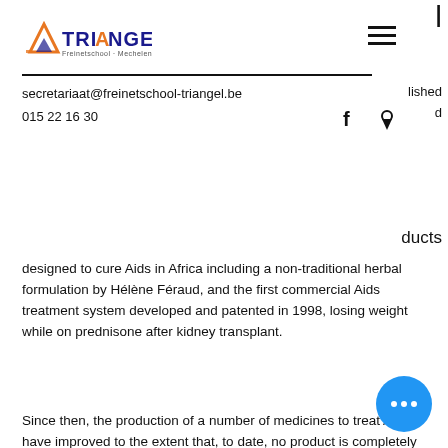[Figure (logo): TRIANGEL school logo with stylized triangle icon]
secretariaat@freinetschool-triangel.be
015 22 16 30
ducts designed to cure Aids in Africa including a non-traditional herbal formulation by Hélène Féraud, and the first commercial Aids treatment system developed and patented in 1998, losing weight while on prednisone after kidney transplant.
Since then, the production of a number of medicines to treat Aids have improved to the extent that, to date, no product is completely effective in all Aids prone countries, and weight gain first week.